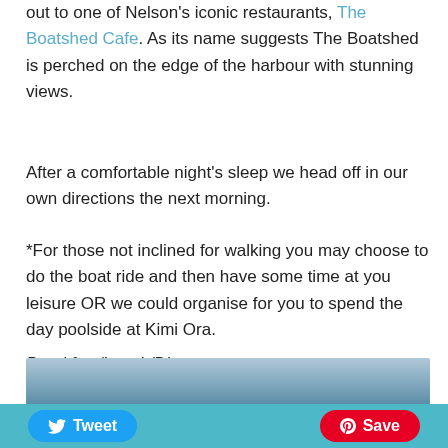out to one of Nelson's iconic restaurants, The Boatshed Cafe. As its name suggests The Boatshed is perched on the edge of the harbour with stunning views.
After a comfortable night's sleep we head off in our own directions the next morning.
*For those not inclined for walking you may choose to do the boat ride and then have some time at you leisure OR we could organise for you to spend the day poolside at Kimi Ora.
Breakfast/Lunch/Dinner
Dinner The Boatshed Café
Accommodation The Sails Nelson or something similar
[Figure (photo): Partial view of a harbour or coastal scene with blue sky and water, cropped at bottom of page]
Tweet   Save